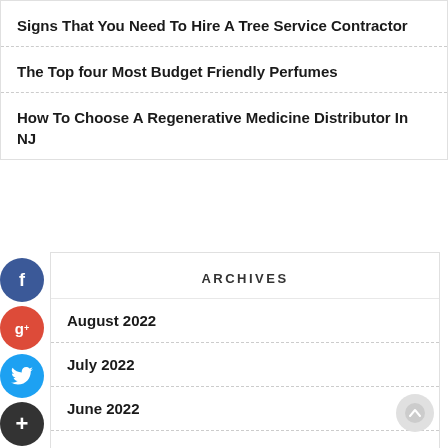Signs That You Need To Hire A Tree Service Contractor
The Top four Most Budget Friendly Perfumes
How To Choose A Regenerative Medicine Distributor In NJ
ARCHIVES
August 2022
July 2022
June 2022
May 2022